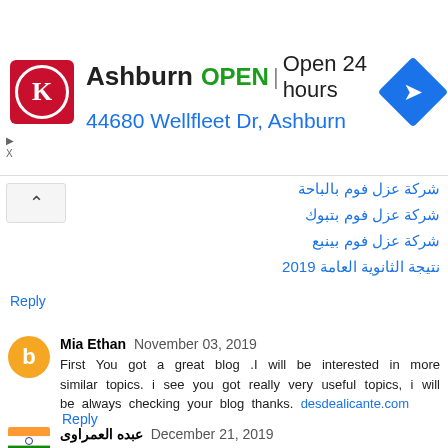[Figure (screenshot): Advertisement banner for Circle K in Ashburn showing OPEN status, 24 hours, address 44680 Wellfleet Dr Ashburn, with logo and navigation icon]
شركة عزل فوم بالباحة
شركة عزل فوم بتبوك
شركة عزل فوم بينبع
نتيجة الثانوية العامة 2019
Reply
Mia Ethan  November 03, 2019
First You got a great blog .I will be interested in more similar topics. i see you got really very useful topics, i will be always checking your blog thanks. desdealicante.com
Reply
عبده العمراوى  December 21, 2019